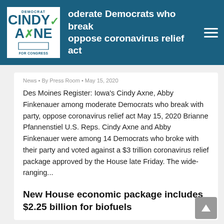moderate Democrats who break with party, oppose coronavirus relief act
News • By Press Room • May 15, 2020
Des Moines Register: Iowa's Cindy Axne, Abby Finkenauer among moderate Democrats who break with party, oppose coronavirus relief act May 15, 2020 Brianne Pfannenstiel U.S. Reps. Cindy Axne and Abby Finkenauer were among 14 Democrats who broke with their party and voted against a $3 trillion coronavirus relief package approved by the House late Friday. The wide-ranging...
New House economic package includes $2.25 billion for biofuels